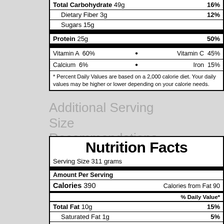| Total Carbohydrate 49g | 16% |
| Dietary Fiber 3g | 12% |
| Sugars 15g |  |
| Protein 25g | 50% |
| Vitamin A  60% | Vitamin C  45% |
| Calcium  6% | Iron  15% |
* Percent Daily Values are based on a 2,000 calorie diet. Your daily values may be higher or lower depending on your calorie needs.
Additional Serving Size Recommendations
| Nutrition Facts |  |
| Serving Size 311 grams |  |
| Amount Per Serving |  |
| Calories 390 | Calories from Fat 90 |
| % Daily Value* |  |
| Total Fat 10g | 15% |
| Saturated Fat 1g | 5% |
| Trans Fat 0g |  |
| Cholesterol 35mg | 12% |
| Sodium 1,330mg | 55% |
| Potassium 0mg | 0% |